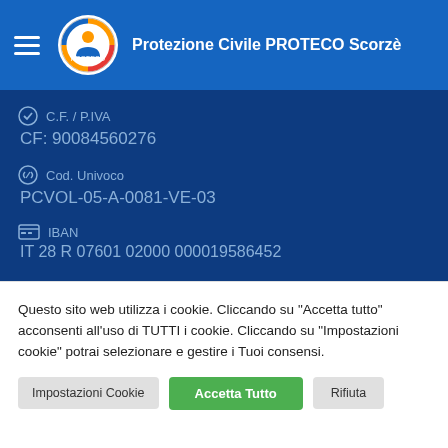Protezione Civile PROTECO Scorzè
C.F. / P.IVA
CF: 90084560276
Cod. Univoco
PCVOL-05-A-0081-VE-03
IBAN
IT 28 R 07601 02000 000019586452
Questo sito web utilizza i cookie. Cliccando su "Accetta tutto" acconsenti all'uso di TUTTI i cookie. Cliccando su "Impostazioni cookie" potrai selezionare e gestire i Tuoi consensi.